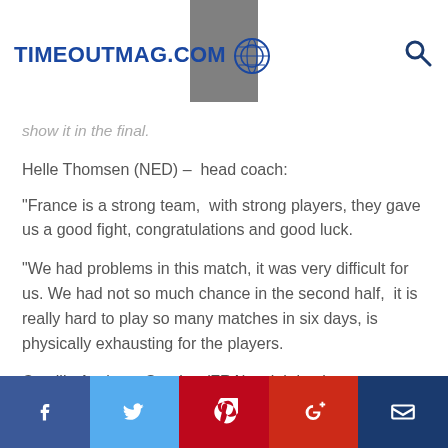TIMEOUTMAG.COM
show it in the final.
Helle Thomsen (NED) –  head coach:
"France is a strong team,  with strong players, they gave us a good fight, congratulations and good luck.
"We had problems in this match, it was very difficult for us. We had not so much chance in the second half,  it is really hard to play so many matches in six days, is physically exhausting for the players.
Camille Ayglon – Saurina (FRA) – rightback :
"It was amazing to play in this arena and share this